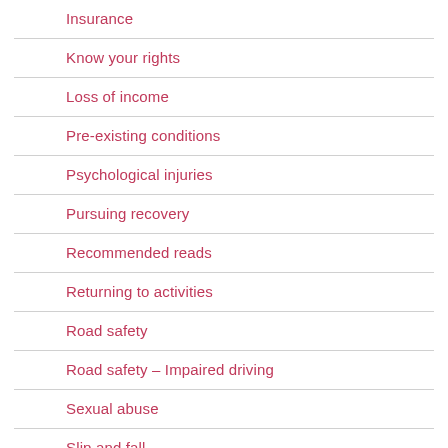Insurance
Know your rights
Loss of income
Pre-existing conditions
Psychological injuries
Pursuing recovery
Recommended reads
Returning to activities
Road safety
Road safety – Impaired driving
Sexual abuse
Slip and fall